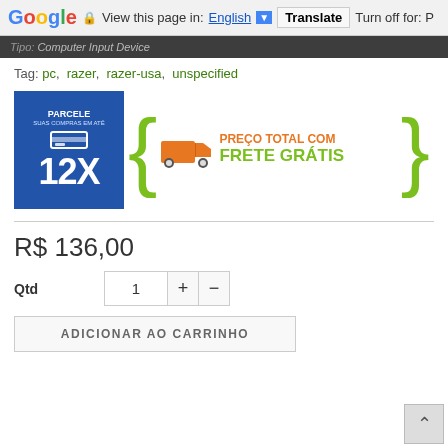Google  View this page in: English  Translate  Turn off for: P
Tipo: Computer Input Device
Tag: pc,  razer,  razer-usa,  unspecified
[Figure (infographic): PARCELE SUAS COMPRAS EM ATÉ 12X blue banner on left, and orange truck with green curly braces and text PREÇO TOTAL COM FRETE GRÁTIS on right]
R$ 136,00
Qtd  1  +  −
ADICIONAR AO CARRINHO